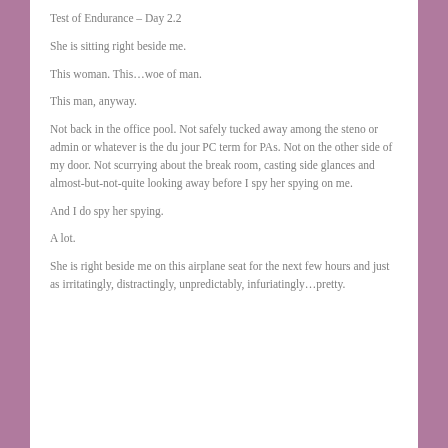Test of Endurance – Day 2.2
She is sitting right beside me.
This woman. This…woe of man.
This man, anyway.
Not back in the office pool. Not safely tucked away among the steno or admin or whatever is the du jour PC term for PAs. Not on the other side of my door. Not scurrying about the break room, casting side glances and almost-but-not-quite looking away before I spy her spying on me.
And I do spy her spying.
A lot.
She is right beside me on this airplane seat for the next few hours and just as irritatingly, distractingly, unpredictably, infuriatingly…pretty.